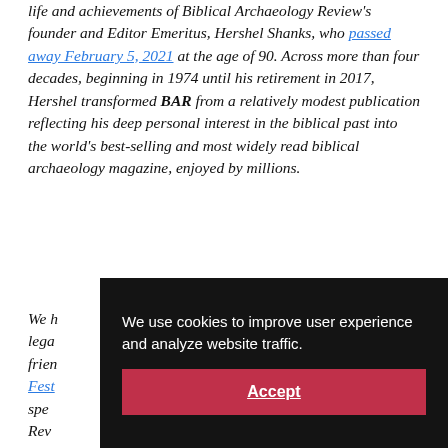life and achievements of Biblical Archaeology Review's founder and Editor Emeritus, Hershel Shanks, who passed away February 5, 2021 at the age of 90. Across more than four decades, beginning in 1974 until his retirement in 2017, Hershel transformed BAR from a relatively modest publication reflecting his deep personal interest in the biblical past into the world's best-selling and most widely read biblical archaeology magazine, enjoyed by millions.
We hold an annual Hershel Shanks lecture to legacy legacy frien... Festival... special... Review... memories and celebrate Hershel's contributions
We use cookies to improve user experience and analyze website traffic. Accept